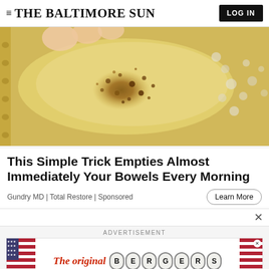≡ THE BALTIMORE SUN  |  LOG IN
[Figure (photo): Close-up photo of a translucent yellow/amber substance with golden-brown granules or seeds scattered on it, held by fingers with light-colored nails, over a white lacy or beaded surface]
This Simple Trick Empties Almost Immediately Your Bowels Every Morning
Gundry MD | Total Restore | Sponsored
Learn More
ADVERTISEMENT
[Figure (infographic): Advertisement banner for 'The original BERGERS' with American flag imagery on the left and right sides, red italic text reading 'The original' and black oval-framed letters spelling 'BERGERS']